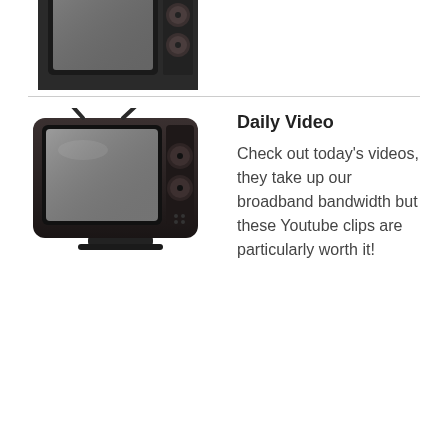[Figure (illustration): Partial view of a vintage/retro television set (top portion cropped), shown at top of page above the divider line]
[Figure (illustration): Vintage retro television set, dark brown/black color with round knobs on the right side and a gray screen]
Daily Video
Check out today’s videos, they take up our broadband bandwidth but these Youtube clips are particularly worth it!